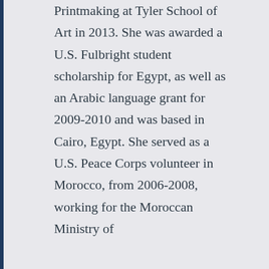Printmaking at Tyler School of Art in 2013. She was awarded a U.S. Fulbright student scholarship for Egypt, as well as an Arabic language grant for 2009-2010 and was based in Cairo, Egypt. She served as a U.S. Peace Corps volunteer in Morocco, from 2006-2008, working for the Moroccan Ministry of